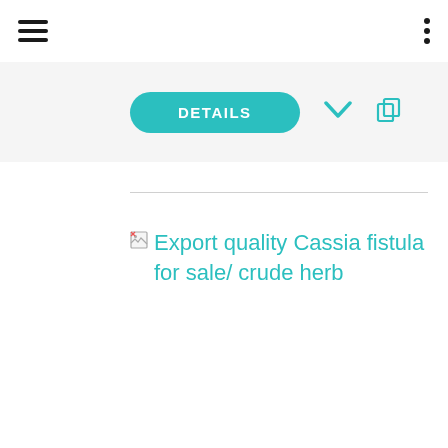hamburger menu | dots menu
[Figure (screenshot): DETAILS button in teal/turquoise rounded pill shape with a chevron down icon and a copy/share icon to the right]
[Figure (illustration): Broken image icon placeholder followed by teal colored text reading: Export quality Cassia fistula for sale/ crude herb]